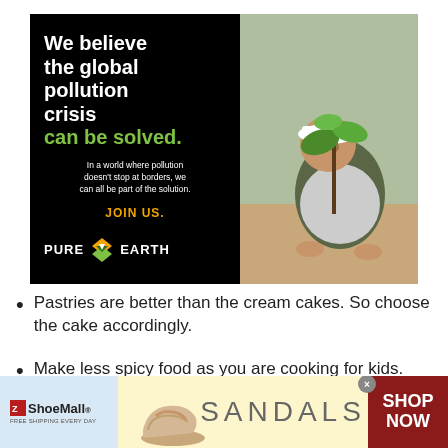[Figure (infographic): Pure Earth environmental organization advertisement. Left side black background with white bold headline 'We believe the global pollution crisis can be solved.' in green, subtext 'In a world where pollution doesn't stop at borders, we can all be part of the solution.' and gold 'JOIN US.' call to action with Pure Earth logo. Right side shows a man in a white hard hat planting a small tree/seedling outdoors.]
Pastries are better than the cream cakes. So choose the cake accordingly.
Make less spicy food as you are cooking for kids.
[Figure (infographic): ShoeMall advertisement banner showing a beige wedge sandal shoe. Left section light blue with ShoeMall logo and 'FREE SHIPPING EVERY DAY', center yellow with SANDALS text and shoe image, right dark red with 'SHOP NOW' text. Close button (x) in top right corner of right section.]